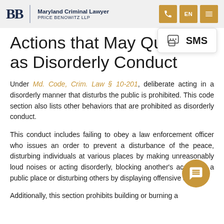Maryland Criminal Lawyer | PRICE BENOWITZ LLP
Actions that May Qualify as Disorderly Conduct
Under Md. Code, Crim. Law § 10-201, deliberate acting in a disorderly manner that disturbs the public is prohibited. This code section also lists other behaviors that are prohibited as disorderly conduct.
This conduct includes failing to obey a law enforcement officer who issues an order to prevent a disturbance of the peace, disturbing individuals at various places by making unreasonably loud noises or acting disorderly, blocking another's access to a public place or disturbing others by displaying offensive actions.
Additionally, this section prohibits building or burning a